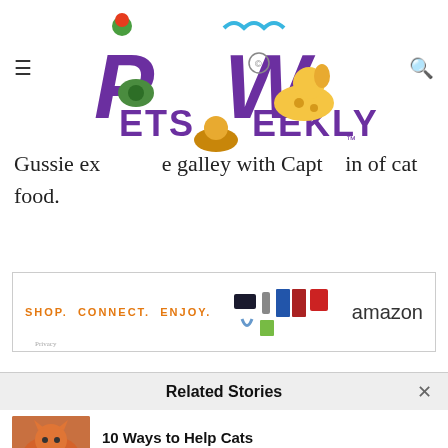[Figure (logo): Pets Weekly logo with colorful cartoon animals and stylized purple lettering]
Gussie ex[plored] the galley with Capt[ain] [in search] of cat food.
[Figure (other): Amazon advertisement banner: SHOP. CONNECT. ENJOY. with product images and Amazon logo]
An expressive cat, she holds nothing back as she prances along the top of passenger cabins, [eliciting the delight...from the Captain]
Related Stories
10 Ways to Help Cats #AdoptAShelterCatMonth